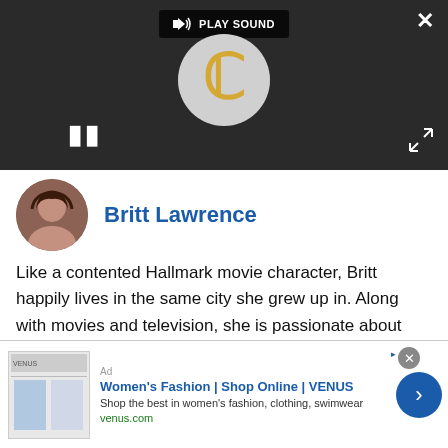[Figure (screenshot): Video player with dark background, loading spinner showing gold C letter, play sound button, pause icon, close X button, and expand icon]
Britt Lawrence
Like a contented Hallmark movie character, Britt happily lives in the same city she grew up in. Along with movies and television, she is passionate about competitive figure skating. She has been writing about entertainment for 5 years, and as you may suspect, still finds it as entertaining to do as when she began.
[Figure (screenshot): Advertisement: Women's Fashion | Shop Online | VENUS. Shop the best in women's fashion, clothing, swimwear. venus.com]